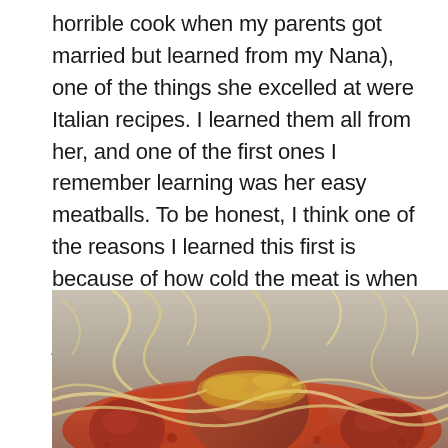horrible cook when my parents got married but learned from my Nana), one of the things she excelled at were Italian recipes. I learned them all from her, and one of the first ones I remember learning was her easy meatballs. To be honest, I think one of the reasons I learned this first is because of how cold the meat is when you mix it. I mean, I think my mom just didn't want to do the mixing anymore!
[Figure (photo): Close-up photo of spaghetti and meatballs with tomato sauce and grated cheese, photographed from a low angle with a blurred background.]